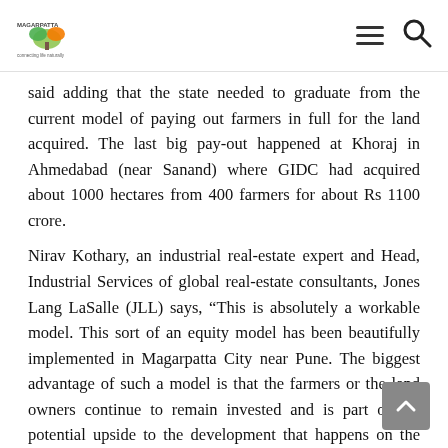Magarpatta City logo, hamburger menu, search icon
said adding that the state needed to graduate from the current model of paying out farmers in full for the land acquired. The last big pay-out happened at Khoraj in Ahmedabad (near Sanand) where GIDC had acquired about 1000 hectares from 400 farmers for about Rs 1100 crore.
Nirav Kothary, an industrial real-estate expert and Head, Industrial Services of global real-estate consultants, Jones Lang LaSalle (JLL) says, “This is absolutely a workable model. This sort of an equity model has been beautifully implemented in Magarpatta City near Pune. The biggest advantage of such a model is that the farmers or the land owners continue to remain invested and is part of the potential upside to the development that happens on the piece of acquired land. They do not feel left out.”
In the Magarpatta model, the farmers who pooled in